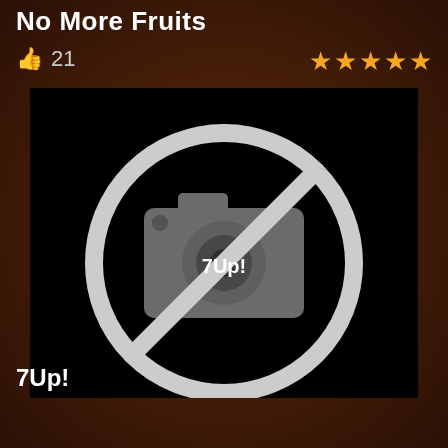No More Fruits
👍 21
★★★★★
[Figure (illustration): Black rectangle with a grey camera-prohibited icon (circle with diagonal slash through a camera symbol) and overlaid text '7Up!']
7Up!